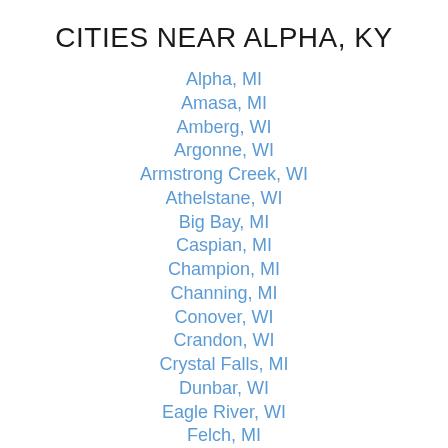CITIES NEAR ALPHA, KY
Alpha, MI
Amasa, MI
Amberg, WI
Argonne, WI
Armstrong Creek, WI
Athelstane, WI
Big Bay, MI
Caspian, MI
Champion, MI
Channing, MI
Conover, WI
Crandon, WI
Crystal Falls, MI
Dunbar, WI
Eagle River, WI
Felch, MI
Fence, WI
Florence, WI
Foster City, MI
Gaastra, MI